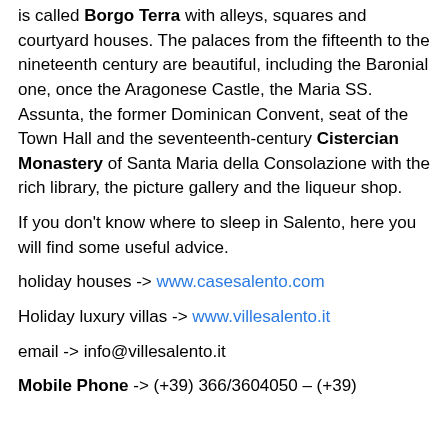is called Borgo Terra with alleys, squares and courtyard houses. The palaces from the fifteenth to the nineteenth century are beautiful, including the Baronial one, once the Aragonese Castle, the Maria SS. Assunta, the former Dominican Convent, seat of the Town Hall and the seventeenth-century Cistercian Monastery of Santa Maria della Consolazione with the rich library, the picture gallery and the liqueur shop.
If you don't know where to sleep in Salento, here you will find some useful advice.
holiday houses -> www.casesalento.com
Holiday luxury villas -> www.villesalento.it
email -> info@villesalento.it
Mobile Phone -> (+39) 366/3604050 – (+39)